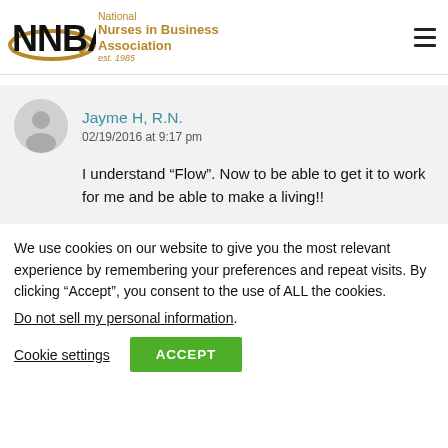National Nurses in Business Association est. 1985
Jayme H, R.N.
02/19/2016 at 9:17 pm
I understand “Flow”. Now to be able to get it to work for me and be able to make a living!!
We use cookies on our website to give you the most relevant experience by remembering your preferences and repeat visits. By clicking “Accept”, you consent to the use of ALL the cookies.
Do not sell my personal information.
Cookie settings   ACCEPT